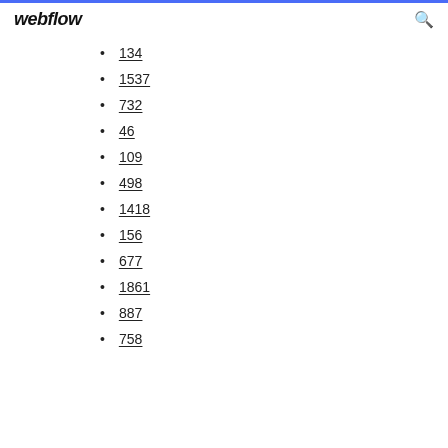webflow
134
1537
732
46
109
498
1418
156
677
1861
887
758